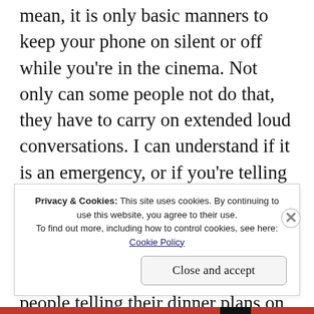mean, it is only basic manners to keep your phone on silent or off while you're in the cinema. Not only can some people not do that, they have to carry on extended loud conversations. I can understand if it is an emergency, or if you're telling that 'I am in a movie where I won't be able to talk to you properly on account of the sound from the speakers ', but I cannot understand people telling their dinner plans on the phone. Take it outside and call them back.
F...
Privacy & Cookies: This site uses cookies. By continuing to use this website, you agree to their use.
To find out more, including how to control cookies, see here:
Cookie Policy